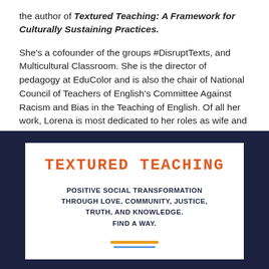the author of Textured Teaching: A Framework for Culturally Sustaining Practices. She's a cofounder of the groups #DisruptTexts, and Multicultural Classroom. She is the director of pedagogy at EduColor and is also the chair of National Council of Teachers of English's Committee Against Racism and Bias in the Teaching of English. Of all her work, Lorena is most dedicated to her roles as wife and mami.
[Figure (illustration): Book cover style graphic with dark navy background and pink sides, containing a white card. The card features 'TEXTURED TEACHING' in large orange monospace bold uppercase text, followed by 'POSITIVE SOCIAL TRANSFORMATION THROUGH LOVE, COMMUNITY, JUSTICE, TRUTH, AND KNOWLEDGE. FIND A WAY.' in bold dark navy uppercase text, and two decorative lines (orange and blue) at the bottom.]